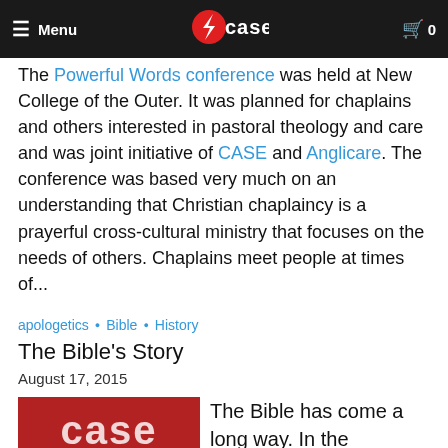Menu | CASE | 0
The Powerful Words conference was held at New College of the Outer. It was planned for chaplains and others interested in pastoral theology and care and was joint initiative of CASE and Anglicare. The conference was based very much on an understanding that Christian chaplaincy is a prayerful cross-cultural ministry that focuses on the needs of others. Chaplains meet people at times of...
apologetics • Bible • History
The Bible's Story
August 17, 2015
[Figure (photo): Cover of CASE magazine No.42 2015, with title 'THE BIBLE'S STORY' in orange text on dark background, with the CASE logo in red at top]
The Bible has come a long way. In the